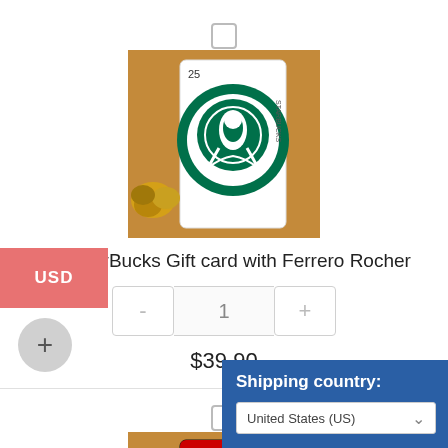[Figure (screenshot): Checkbox (unchecked) for first product]
[Figure (photo): Starbucks $25 gift card with Ferrero Rocher chocolates on a brown background]
$25 StarBucks Gift card with Ferrero Rocher
[Figure (screenshot): Quantity selector with minus button, value 1, and plus button]
$39.90
[Figure (screenshot): USD currency badge (red/salmon background)]
[Figure (screenshot): Plus circle button (gray)]
[Figure (screenshot): Checkbox (unchecked) for second product]
[Figure (photo): Roblox $25 gift card with Ferrero Rocher chocolates on a brown background]
$25 Roblox Gift Card with F
[Figure (screenshot): Shipping country panel with blue background and dropdown showing United States (US)]